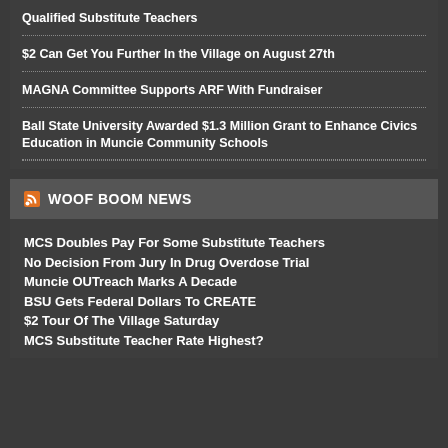Qualified Substitute Teachers
$2 Can Get You Further In the Village on August 27th
MAGNA Committee Supports ARF With Fundraiser
Ball State University Awarded $1.3 Million Grant to Enhance Civics Education in Muncie Community Schools
WOOF BOOM NEWS
MCS Doubles Pay For Some Substitute Teachers
No Decision From Jury In Drug Overdose Trial
Muncie OUTreach Marks A Decade
BSU Gets Federal Dollars To CREATE
$2 Tour Of The Village Saturday
MCS Substitute Teacher Rate Highest?